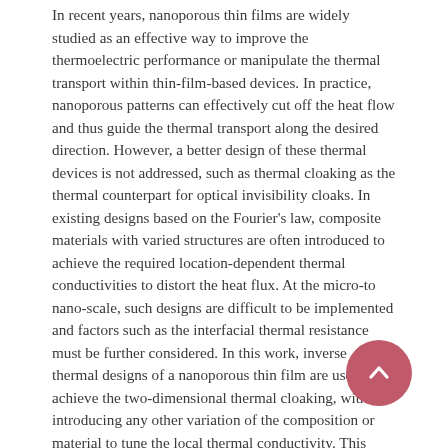In recent years, nanoporous thin films are widely studied as an effective way to improve the thermoelectric performance or manipulate the thermal transport within thin-film-based devices. In practice, nanoporous patterns can effectively cut off the heat flow and thus guide the thermal transport along the desired direction. However, a better design of these thermal devices is not addressed, such as thermal cloaking as the thermal counterpart for optical invisibility cloaks. In existing designs based on the Fourier's law, composite materials with varied structures are often introduced to achieve the required location-dependent thermal conductivities to distort the heat flux. At the micro-to nano-scale, such designs are difficult to be implemented and factors such as the interfacial thermal resistance must be further considered. In this work, inverse thermal designs of a nanoporous thin film are used to achieve the two-dimensional thermal cloaking, without introducing any other variation of the composition or material to tune the local thermal conductivity. This simple approach can be widely used for thin-film-based devices to protect heat-sensitive regions or function as thermal camouflaging devices. The proposed nanoporous structures can also be used to tune the local properties of a thin film for general applications, such as graded thermoelectric materials.